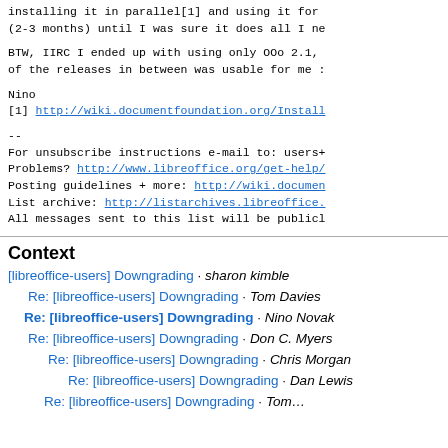installing it in parallel[1] and using it for
(2-3 months) until I was sure it does all I ne
BTW, IIRC I ended up with using only OOo 2.1,
of the releases in between was usable for me :
Nino
[1] http://wiki.documentfoundation.org/Install
--
For unsubscribe instructions e-mail to: users+
Problems? http://www.libreoffice.org/get-help/
Posting guidelines + more: http://wiki.documen
List archive: http://listarchives.libreoffice.
All messages sent to this list will be publicl
Context
[libreoffice-users] Downgrading · sharon kimble
Re: [libreoffice-users] Downgrading · Tom Davies
Re: [libreoffice-users] Downgrading · Nino Novak
Re: [libreoffice-users] Downgrading · Don C. Myers
Re: [libreoffice-users] Downgrading · Chris Morgan
Re: [libreoffice-users] Downgrading · Dan Lewis
Re: [libreoffice-users] Downgrading · (truncated)